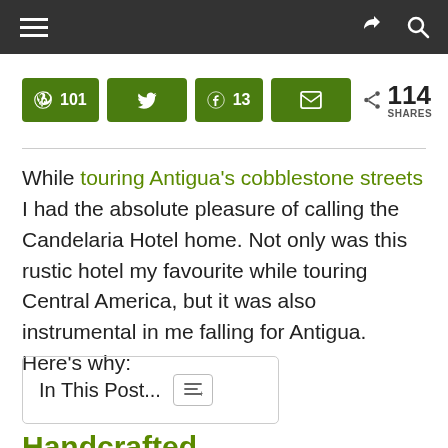Navigation bar with hamburger menu and share/search icons
[Figure (infographic): Social share buttons: Pinterest 101, Twitter, Facebook 13, Email, and 114 SHARES total]
While touring Antigua's cobblestone streets I had the absolute pleasure of calling the Candelaria Hotel home. Not only was this rustic hotel my favourite while touring Central America, but it was also instrumental in me falling for Antigua. Here's why:
In This Post...
Handcrafted